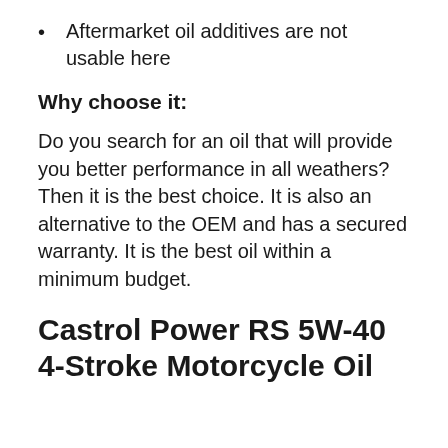Aftermarket oil additives are not usable here
Why choose it:
Do you search for an oil that will provide you better performance in all weathers? Then it is the best choice. It is also an alternative to the OEM and has a secured warranty. It is the best oil within a minimum budget.
Castrol Power RS 5W-40 4-Stroke Motorcycle Oil